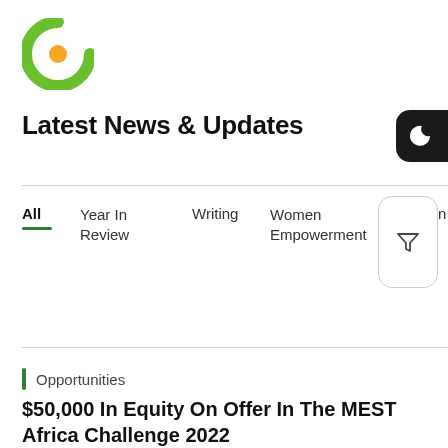[Figure (logo): Circular green and orange logo resembling the letter C with an orange dot]
Latest News & Updates
[Figure (other): Dark mode toggle button (crescent moon icon) in black rounded rectangle]
All
Year In Review
Writing
Women Empowerment
Women
[Figure (other): Filter icon button with rounded rectangle border]
Opportunities
$50,000 In Equity On Offer In The MEST Africa Challenge 2022
6th August 2022
MEST Africa, a leading pan-African incubator, training